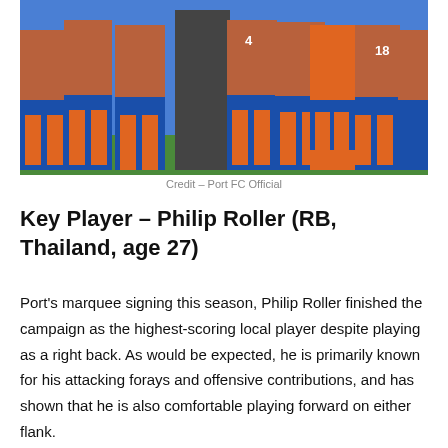[Figure (photo): Football players in blue and orange checkered/striped kits huddled together on a pitch, seen from waist down, with a goalkeeper in dark kit in the center.]
Credit – Port FC Official
Key Player – Philip Roller (RB, Thailand, age 27)
Port's marquee signing this season, Philip Roller finished the campaign as the highest-scoring local player despite playing as a right back. As would be expected, he is primarily known for his attacking forays and offensive contributions, and has shown that he is also comfortable playing forward on either flank.